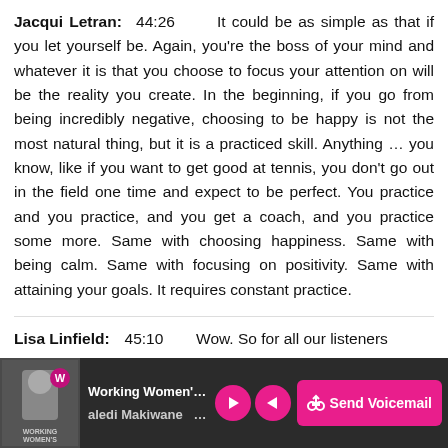Jacqui Letran:  44:26       It could be as simple as that if you let yourself be. Again, you're the boss of your mind and whatever it is that you choose to focus your attention on will be the reality you create. In the beginning, if you go from being incredibly negative, choosing to be happy is not the most natural thing, but it is a practiced skill. Anything ... you know, like if you want to get good at tennis, you don't go out in the field one time and expect to be perfect. You practice and you practice, and you get a coach, and you practice some more. Same with choosing happiness. Same with being calm. Same with focusing on positivity. Same with attaining your goals. It requires constant practice.
Lisa Linfield:     45:10       Wow. So for all our listeners
Working Women's Wealth | aledi Makiwane | 221 | Send Voicemail